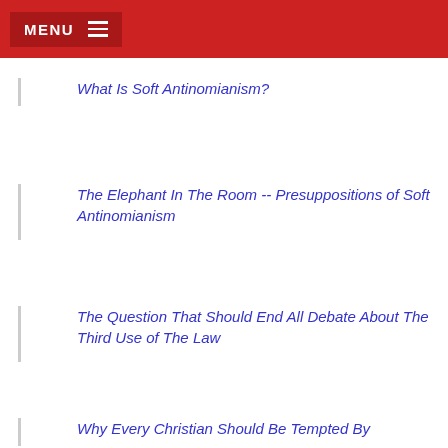MENU
What Is Soft Antinomianism?
The Elephant In The Room -- Presuppositions of Soft Antinomianism
The Question That Should End All Debate About The Third Use of The Law
Why Every Christian Should Be Tempted By